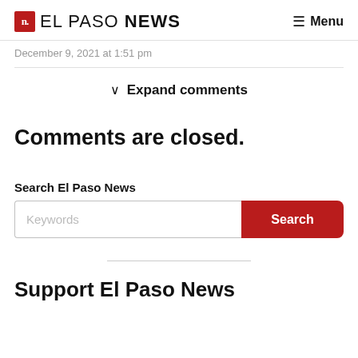n. EL PASO NEWS  Menu
December 9, 2021 at 1:51 pm
∨ Expand comments
Comments are closed.
Search El Paso News
Keywords  Search
Support El Paso News